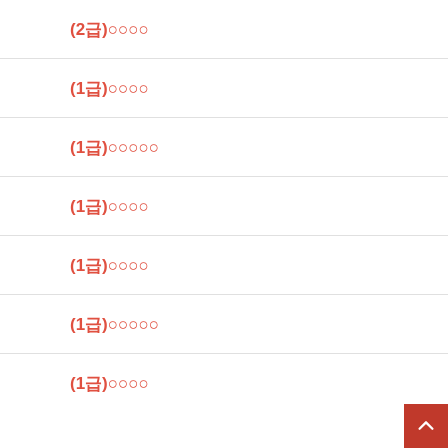(2급)○○○○
(1급)○○○○
(1급)○○○○○
(1급)○○○○
(1급)○○○○
(1급)○○○○○
(1급)○○○○